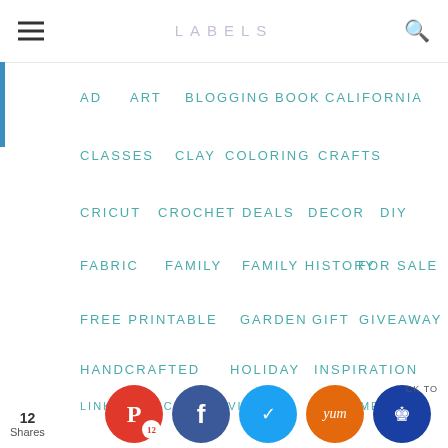LABELS
AD
ART
BLOGGING
BOOK
CALIFORNIA
CLASSES
CLAY
COLORING
CRAFTS
CRICUT
CROCHET
DEALS
DECOR
DIY
FABRIC
FAMILY
FAMILY HISTORY
FOR SALE
FREE PRINTABLE
GARDEN
GIFT
GIVEAWAY
HANDCRAFTED
HOLIDAY
INSPIRATION
JEWELRY
JOURNALING
KIDS PROJECTS
LINKS
LOCAL ACTIVITIES
MIXED MEDI
12 Shares